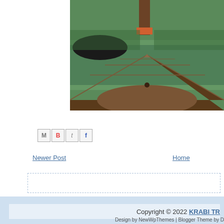[Figure (photo): View from the bow of a wooden longtail boat on a river or canal surrounded by green trees. The wooden deck of the boat is visible in the foreground, with a tree tied with an orange strip visible ahead.]
[Figure (infographic): Social sharing buttons: Gmail (M icon), Blogger (B icon), Twitter (t icon), Facebook (f icon)]
Newer Post
Home
Copyright © 2022 KRABI TR
Design by NewWpThemes | Blogger Theme by D